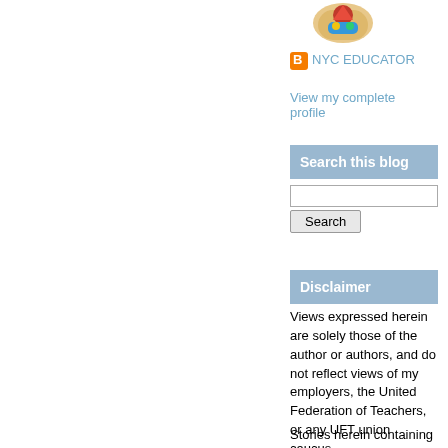[Figure (illustration): Colorful illustrated avatar/logo image in the top right sidebar area]
NYC EDUCATOR
View my complete profile
Search this blog
Search
Disclaimer
Views expressed herein are solely those of the author or authors, and do not reflect views of my employers, the United Federation of Teachers, or any UFT union caucus.
Stories herein containing